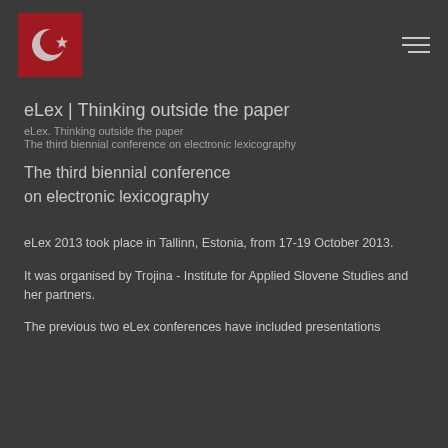[Figure (logo): Red square logo with white crescent moon and star symbol]
eLex | Thinking outside the paper
eLex. Thinking outside the paper
The third biennial conference on electronic lexicography
The third biennial conference
on electronic lexicography
eLex 2013 took place in Tallinn, Estonia, from 17-19 October 2013.
It was organised by Trojina - Institute for Applied Slovene Studies and her partners.
The previous two eLex conferences have included presentations